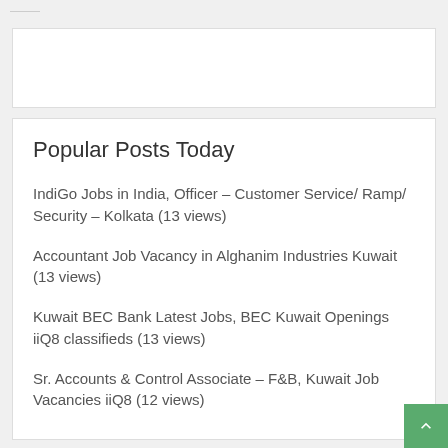[Figure (other): Advertisement placeholder white box]
Popular Posts Today
IndiGo Jobs in India, Officer – Customer Service/ Ramp/ Security – Kolkata (13 views)
Accountant Job Vacancy in Alghanim Industries Kuwait (13 views)
Kuwait BEC Bank Latest Jobs, BEC Kuwait Openings iiQ8 classifieds (13 views)
Sr. Accounts & Control Associate – F&B, Kuwait Job Vacancies iiQ8 (12 views)